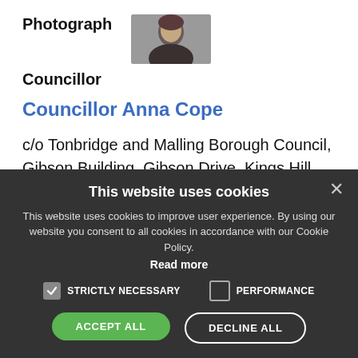[Figure (photo): Photograph of Councillor Anna Cope, a woman with dark hair wearing a black top]
Photograph
Councillor
Councillor Anna Cope
c/o Tonbridge and Malling Borough Council, Gibson Building, Gibson Drive, Kings Hill, ME19 4LZ
This website uses cookies
This website uses cookies to improve user experience. By using our website you consent to all cookies in accordance with our Cookie Policy.
Read more
STRICTLY NECESSARY
PERFORMANCE
ACCEPT ALL
DECLINE ALL